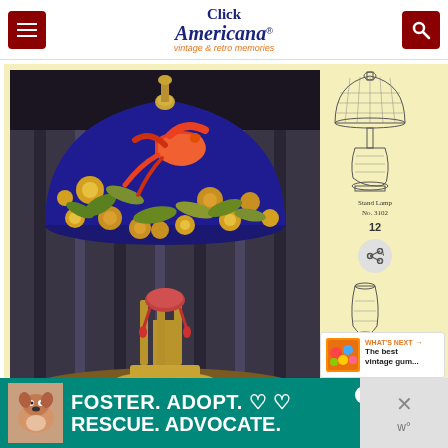Click Americana® vintage & retro memories
[Figure (photo): Vintage art glass table lamp with colorful floral and bird design on a dark blue dome shade, brass base with ornate legs, photographed against a draped fabric background on a patterned rug]
[Figure (illustration): Line drawing of Stand Lamp No. 3102 - catalog illustration showing lamp side view]
Stand Lamp
No. 3102
[Figure (illustration): Second line drawing of a lamp base/vase style for catalog]
WHAT'S NEXT → The best vintage gum...
[Figure (photo): Ad banner: FOSTER. ADOPT. ♡ ♡ RESCUE. ADVOCATE. with dog photo on teal background]